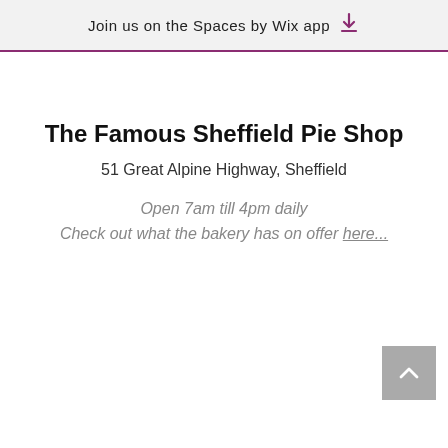Join us on the Spaces by Wix app
The Famous Sheffield Pie Shop
51 Great Alpine Highway, Sheffield
Open 7am till 4pm daily
Check out what the bakery has on offer here...